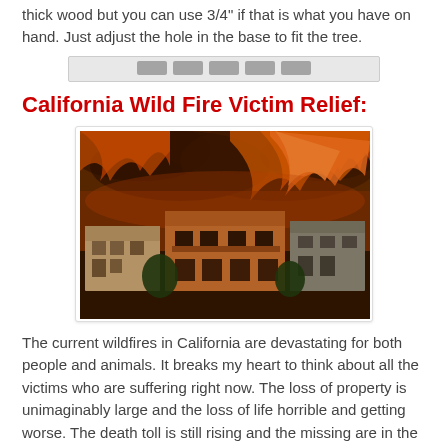thick wood but you can use 3/4" if that is what you have on hand. Just adjust the hole in the base to fit the tree.
[Figure (other): Partially visible decorative/header image, mostly obscured]
California Wild Fire Victim Relief:
[Figure (photo): Photograph of houses with massive orange wildfire flames and smoke filling the sky behind them]
The current wildfires in California are devastating for both people and animals. It breaks my heart to think about all the victims who are suffering right now. The loss of property is unimaginably large and the loss of life horrible and getting worse. The death toll is still rising and the missing are in the hundreds.
To all of my readers in California who have been impacted